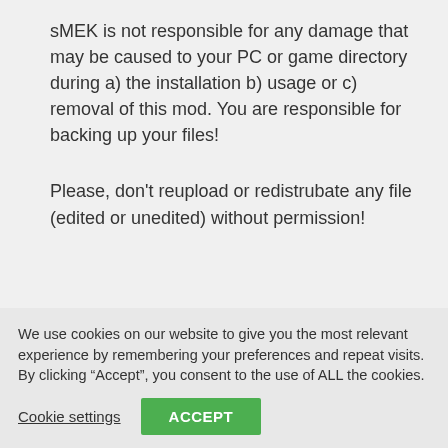sMEK is not responsible for any damage that may be caused to your PC or game directory during a) the installation b) usage or c) removal of this mod. You are responsible for backing up your files!
Please, don't reupload or redistrubate any file (edited or unedited) without permission!
We use cookies on our website to give you the most relevant experience by remembering your preferences and repeat visits. By clicking “Accept”, you consent to the use of ALL the cookies.
Cookie settings
ACCEPT